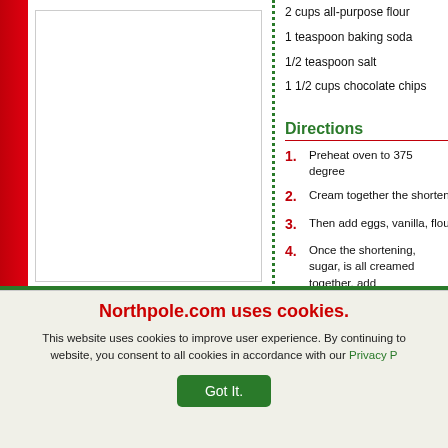2 cups all-purpose flour
1 teaspoon baking soda
1/2 teaspoon salt
1 1/2 cups chocolate chips
Directions
1. Preheat oven to 375 degrees
2. Cream together the shortening
3. Then add eggs, vanilla, flour
4. Once the shortening, sugar, is all creamed together, add
5. Mix together, well.
6. Drop cookie dough by teasp
[Figure (photo): Recipe photo placeholder]
Northpole.com uses cookies.
This website uses cookies to improve user experience. By continuing to website, you consent to all cookies in accordance with our Privacy P